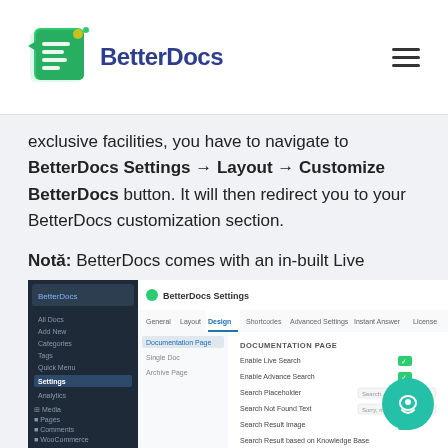BetterDocs
exclusive facilities, you have to navigate to BetterDocs Settings → Layout → Customize BetterDocs button. It will then redirect you to your BetterDocs customization section.
Notă: BetterDocs comes with an in-built Live Search facility, you can check out this detailed documentation to know more about BetterDocs Live Search feature.
[Figure (screenshot): Screenshot of BetterDocs Settings page showing Documentation Page settings with options for Enable Live Search, Enable Advance Search, Search Placeholder, Search Not Found Text, Search Result Image, and Search Result based on Knowledge Base]